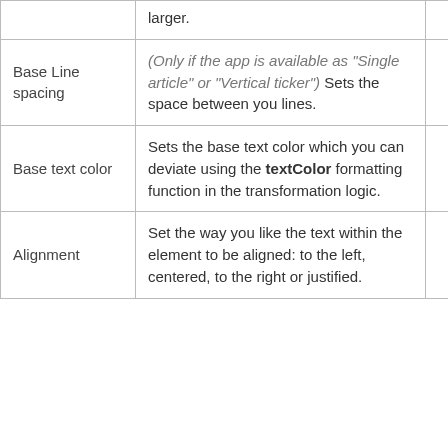|  |  |  |
| --- | --- | --- |
|  | larger. |  |
| Base Line spacing | (Only if the app is available as "Single article" or "Vertical ticker") Sets the space between you lines. | Yes |
| Base text color | Sets the base text color which you can deviate using the textColor formatting function in the transformation logic. | Yes |
| Alignment | Set the way you like the text within the element to be aligned: to the left, centered, to the right or justified. | Yes |